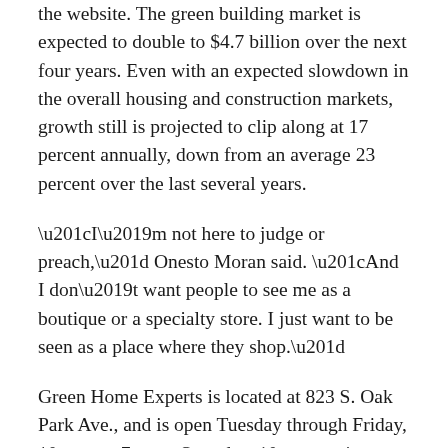the website. The green building market is expected to double to $4.7 billion over the next four years. Even with an expected slowdown in the overall housing and construction markets, growth still is projected to clip along at 17 percent annually, down from an average 23 percent over the last several years.
“I’m not here to judge or preach,” Onesto Moran said. “And I don’t want people to see me as a boutique or a specialty store. I just want to be seen as a place where they shop.”
Green Home Experts is located at 823 S. Oak Park Ave., and is open Tuesday through Friday, 10 a.m. to 7 p.m.; Saturday, 10 a.m. to 4 p.m.; and Sunday, 10 a.m. to 2 p.m.